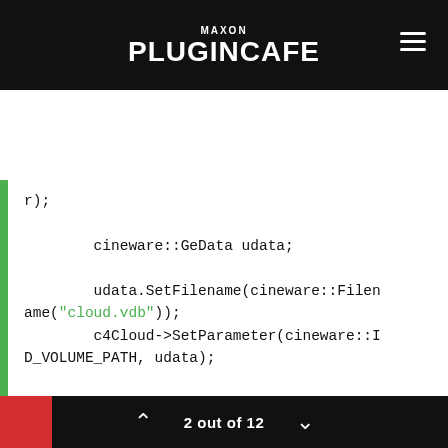MAXON PLUGINCAFE
r);

        cineware::GeData udata;

        udata.SetFilename(cineware::Filename("cloud.vdb"));
        c4Cloud->SetParameter(cineware::ID_VOLUME_PATH, udata);



        newC4DDoc->InsertObject(c4Cloud, nullptr);
        c4Cloud->SetName("my could");



        newC4DDoc->CreateSceneToC4D(tru
2 out of 12